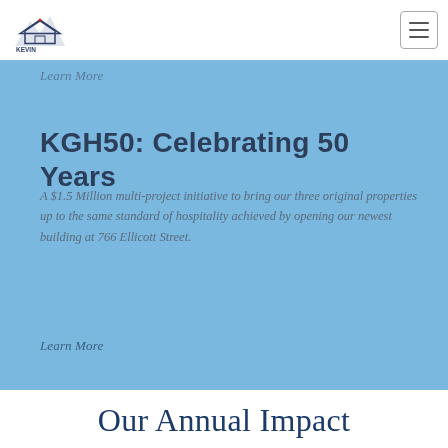[Figure (logo): Kevin Guest House logo with mountain/house icon and text KEVIN GUEST HOUSE]
Learn More
KGH50: Celebrating 50 Years
A $1.5 Million multi-project initiative to bring our three original properties up to the same standard of hospitality achieved by opening our newest building at 766 Ellicott Street.
Learn More
Our Annual Impact